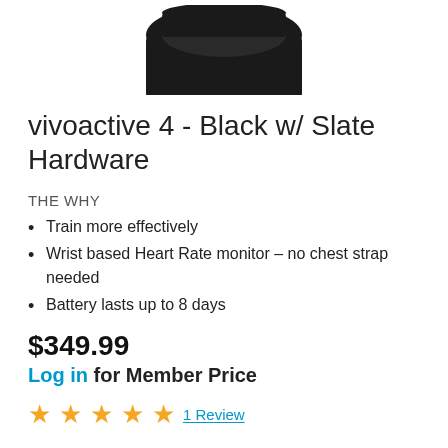[Figure (photo): Top portion of a black Garmin vivoactive 4 smartwatch against a white background]
vivoactive 4 - Black w/ Slate Hardware
THE WHY
Train more effectively
Wrist based Heart Rate monitor – no chest strap needed
Battery lasts up to 8 days
$349.99
Log in for Member Price
★★★★★ 1 Review